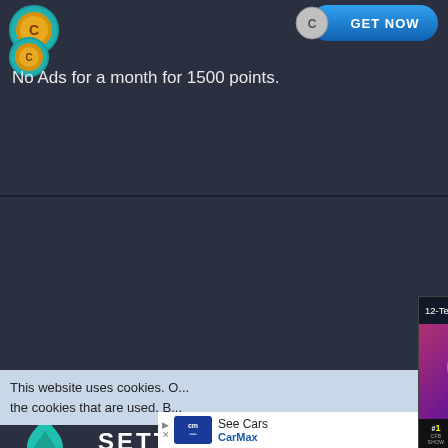[Figure (screenshot): App interface showing coin icon and 'GET NOW' button at top]
No Ads for a month for 1500 points.
[Figure (screenshot): Settings section with flame/coin logo, SETTINGS label, and SAVE button]
Emails:
[Figure (screenshot): Video popup overlay: 12-Team College Football Playoff appro... with mute button and FOX show ticker. THE CFP BOARD OF MANAGERS HAS APPROVED A 12-TEAM COLLEGE FOOTBALL PLAYOFF BY UNANIMOUS VOTE]
This website uses cookies. O... the cookies that are used. B...
[Figure (advertisement): CarMax advertisement: See Cars, CarMax logo]